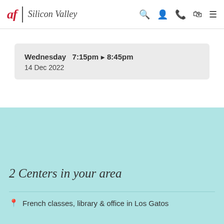af | Silicon Valley
Wednesday  7:15pm ▶ 8:45pm
14 Dec 2022
2 Centers in your area
French classes, library & office in Los Gatos